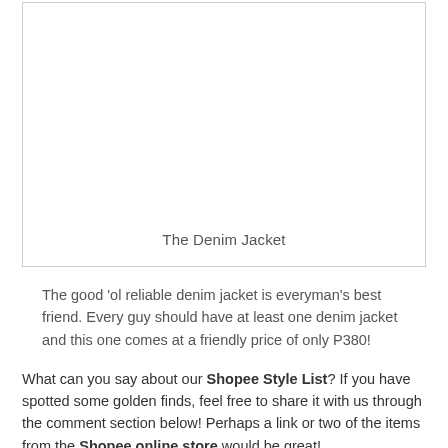[Figure (photo): White empty box representing a product image area for a denim jacket]
The Denim Jacket
The good 'ol reliable denim jacket is everyman's best friend. Every guy should have at least one denim jacket and this one comes at a friendly price of only P380!
What can you say about our Shopee Style List? If you have spotted some golden finds, feel free to share it with us through the comment section below! Perhaps a link or two of the items from the Shopee online store would be great!